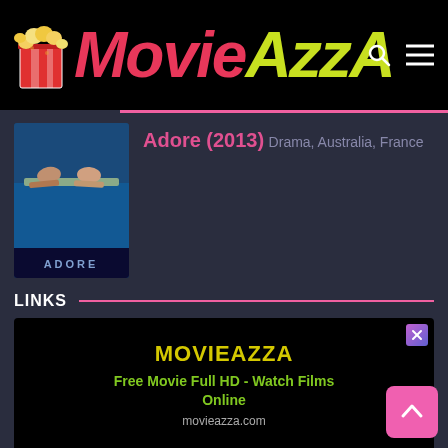MovieAzzA
Adore (2013)
Drama, Australia, France
LINKS
[Figure (screenshot): Ad card for MovieAzzA - Free Movie Full HD - Watch Films Online, movieazza.com]
[Figure (screenshot): Ad card for THE X CRYPTO - Latest bitcoin news and blockchain]